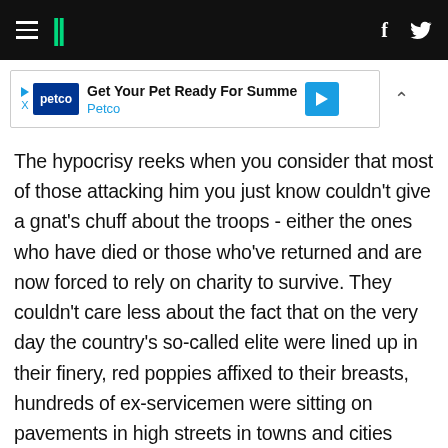HuffPost navigation header with hamburger menu, logo, Facebook and Twitter icons
[Figure (other): Petco advertisement banner: 'Get Your Pet Ready For Summe' with Petco logo and blue arrow badge]
The hypocrisy reeks when you consider that most of those attacking him you just know couldn't give a gnat's chuff about the troops - either the ones who have died or those who've returned and are now forced to rely on charity to survive. They couldn't care less about the fact that on the very day the country's so-called elite were lined up in their finery, red poppies affixed to their breasts, hundreds of ex-servicemen were sitting on pavements in high streets in towns and cities across the country begging for spare change. The most risible aspect to the criticism